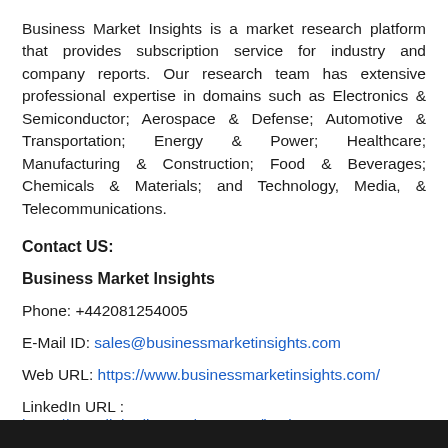Business Market Insights is a market research platform that provides subscription service for industry and company reports. Our research team has extensive professional expertise in domains such as Electronics & Semiconductor; Aerospace & Defense; Automotive & Transportation; Energy & Power; Healthcare; Manufacturing & Construction; Food & Beverages; Chemicals & Materials; and Technology, Media, & Telecommunications.
Contact US:
Business Market Insights
Phone: +442081254005
E-Mail ID: sales@businessmarketinsights.com
Web URL: https://www.businessmarketinsights.com/
LinkedIn URL: https://www.linkedin.com/company/business